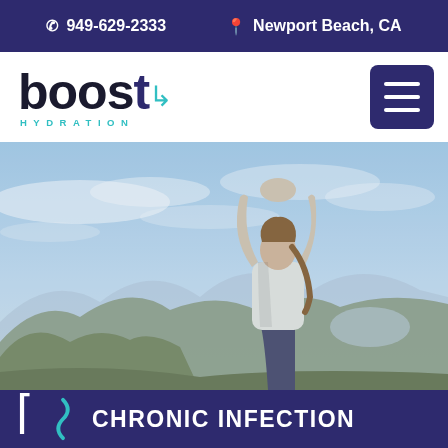📞 949-629-2333   📍 Newport Beach, CA
[Figure (logo): Boost Hydration logo with teal accent]
[Figure (photo): Woman in white top doing yoga pose with arms raised against blue sky and mountainous landscape]
CHRONIC INFECTION